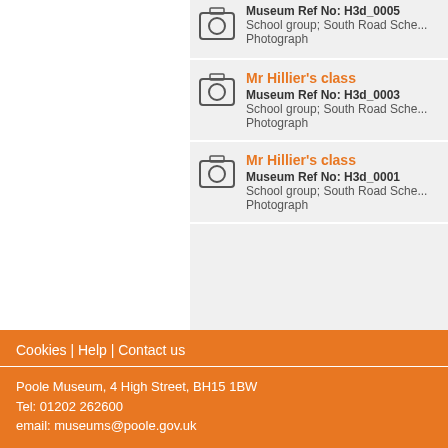[Figure (screenshot): Camera icon with partial record: Museum Ref No: H3d_0005, School group; South Road Sch..., Photograph]
Mr Hillier's class
Museum Ref No: H3d_0003
School group; South Road Sch...
Photograph
Mr Hillier's class
Museum Ref No: H3d_0001
School group; South Road Sch...
Photograph
Cookies | Help | Contact us
Poole Museum, 4 High Street, BH15 1BW
Tel: 01202 262600
email: museums@poole.gov.uk